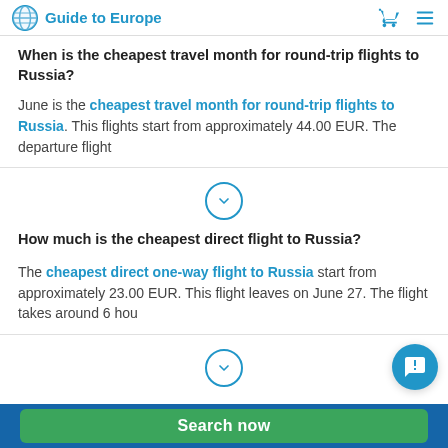Guide to Europe
When is the cheapest travel month for round-trip flights to Russia?
June is the cheapest travel month for round-trip flights to Russia. This flights start from approximately 44.00 EUR. The departure flight
How much is the cheapest direct flight to Russia?
The cheapest direct one-way flight to Russia start from approximately 23.00 EUR. This flight leaves on June 27. The flight takes around 6 hou
Search now